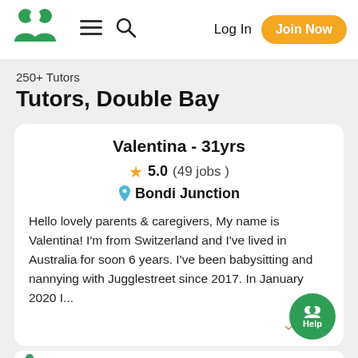[Figure (logo): Jugglestreet green logo mark with two person icons]
≡  🔍  Log In  Join Now
250+ Tutors
Tutors, Double Bay
Valentina - 31yrs
★ 5.0 (49 jobs )
📍 Bondi Junction
Hello lovely parents & caregivers, My name is Valentina! I'm from Switzerland and I've lived in Australia for soon 6 years. I've been babysitting and nannying with Jugglestreet since 2017. In January 2020 I...